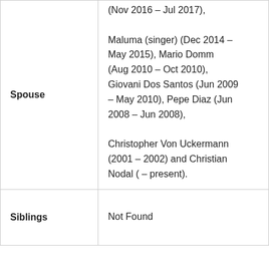| Label | Value |
| --- | --- |
| Spouse | (Nov 2016 – Jul 2017), Maluma (singer) (Dec 2014 – May 2015), Mario Domm (Aug 2010 – Oct 2010), Giovani Dos Santos (Jun 2009 – May 2010), Pepe Diaz (Jun 2008 – Jun 2008), Christopher Von Uckermann (2001 – 2002) and Christian Nodal ( – present). |
| Siblings | Not Found |